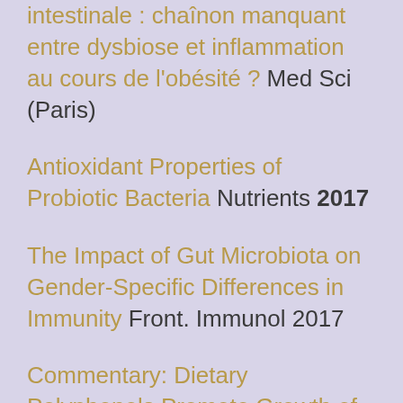intestinale : chaînon manquant entre dysbiose et inflammation au cours de l'obésité ? Med Sci (Paris)
Antioxidant Properties of Probiotic Bacteria  Nutrients 2017
The Impact of Gut Microbiota on Gender-Specific Differences in Immunity  Front. Immunol 2017
Commentary: Dietary Polyphenols Promote Growth of the Gut Bacterium